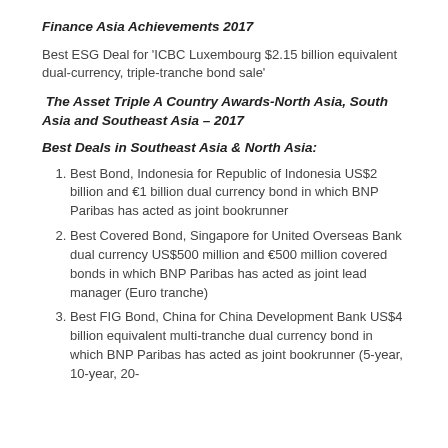Finance Asia Achievements 2017
Best ESG Deal for 'ICBC Luxembourg $2.15 billion equivalent dual-currency, triple-tranche bond sale'
The Asset Triple A Country Awards-North Asia, South Asia and Southeast Asia – 2017
Best Deals in Southeast Asia & North Asia:
Best Bond, Indonesia for Republic of Indonesia US$2 billion and €1 billion dual currency bond in which BNP Paribas has acted as joint bookrunner
Best Covered Bond, Singapore for United Overseas Bank dual currency US$500 million and €500 million covered bonds in which BNP Paribas has acted as joint lead manager (Euro tranche)
Best FIG Bond, China for China Development Bank US$4 billion equivalent multi-tranche dual currency bond in which BNP Paribas has acted as joint bookrunner (5-year, 10-year, 20-